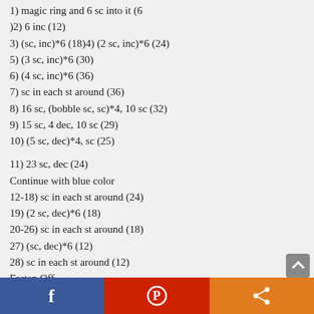1) magic ring and 6 sc into it (6
)2) 6 inc (12)
3) (sc, inc)*6 (18)4) (2 sc, inc)*6 (24)
5) (3 sc, inc)*6 (30)
6) (4 sc, inc)*6 (36)
7) sc in each st around (36)
8) 16 sc, (bobble sc, sc)*4, 10 sc (32)
9) 15 sc, 4 dec, 10 sc (29)
10) (5 sc, dec)*4, sc (25)
11) 23 sc, dec (24)
Continue with blue color
12-18) sc in each st around (24)
19) (2 sc, dec)*6 (18)
20-26) sc in each st around (18)
27) (sc, dec)*6 (12)
28) sc in each st around (12)
Fasten Off
Fill it with fiber
Leave a long yarn for sewing...